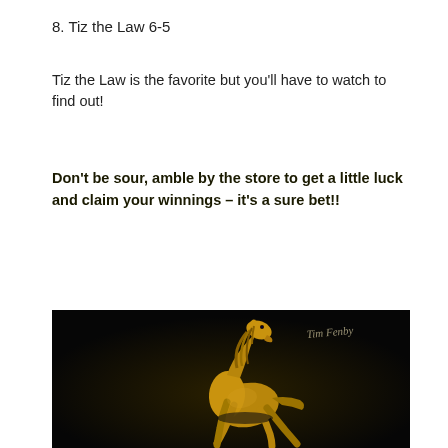8. Tiz the Law 6-5
Tiz the Law is the favorite but you'll have to watch to find out!
Don't be sour, amble by the store to get a little luck and claim your winnings – it's a sure bet!!
[Figure (photo): Gold/bronze figurine of a rearing horse against a dark background, with a signature watermark 'Tim Fenby' in the top right corner.]